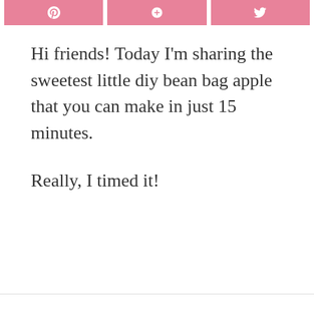[Figure (other): Three pink social sharing buttons (Pinterest, Facebook/plus, Twitter) at the top of the page]
Hi friends!  Today I'm sharing the sweetest little diy bean bag apple that you can make in just 15 minutes.
Really, I timed it!